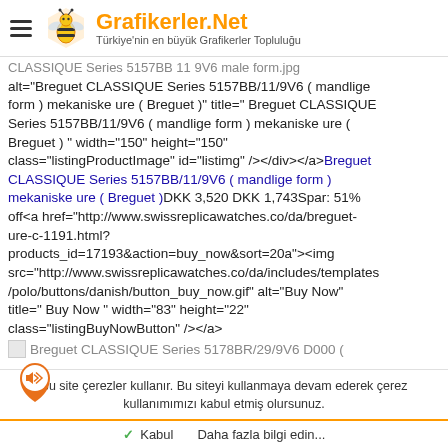Grafikerler.Net — Türkiye'nin en büyük Grafikerler Topluluğu
CLASSIQUE Series 5157BB 11 9V6 male form.jpg alt="Breguet CLASSIQUE Series 5157BB/11/9V6 ( mandlige form ) mekaniske ure ( Breguet )" title=" Breguet CLASSIQUE Series 5157BB/11/9V6 ( mandlige form ) mekaniske ure ( Breguet ) " width="150" height="150" class="listingProductImage" id="listimg" /></div></a>Breguet CLASSIQUE Series 5157BB/11/9V6 ( mandlige form ) mekaniske ure ( Breguet )DKK 3,520 DKK 1,743Spar: 51% off<a href="http://www.swissreplicawatches.co/da/breguet-ure-c-1191.html?products_id=17193&action=buy_now&sort=20a"><img src="http://www.swissreplicawatches.co/da/includes/templates/polo/buttons/danish/button_buy_now.gif" alt="Buy Now" title=" Buy Now " width="83" height="22" class="listingBuyNowButton" /></a>
Breguet CLASSIQUE Series 5178BR/29/9V6 D000 (
Bu site çerezler kullanır. Bu siteyi kullanmaya devam ederek çerez kullanımımızı kabul etmiş olursunuz.
✓ Kabul   Daha fazla bilgi edin...